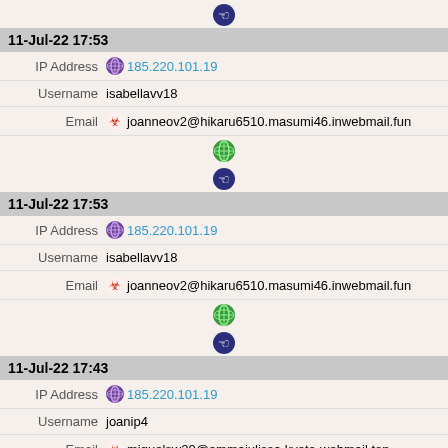[Figure (infographic): Hand cursor icon (dark blue circular button)]
11-Jul-22 17:53
IP Address 185.220.101.19
Username isabellavv18
Email joanneov2@hikaru6510.masumi46.inwebmail.fun
[Figure (infographic): Green globe icon]
[Figure (infographic): Hand cursor icon (dark blue circular button)]
11-Jul-22 17:53
IP Address 185.220.101.19
Username isabellavv18
Email joanneov2@hikaru6510.masumi46.inwebmail.fun
[Figure (infographic): Green globe icon]
[Figure (infographic): Hand cursor icon (dark blue circular button)]
11-Jul-22 17:43
IP Address 185.220.101.19
Username joanip4
Email miguelsw20@emmajulissa.kyoto-webmail.top